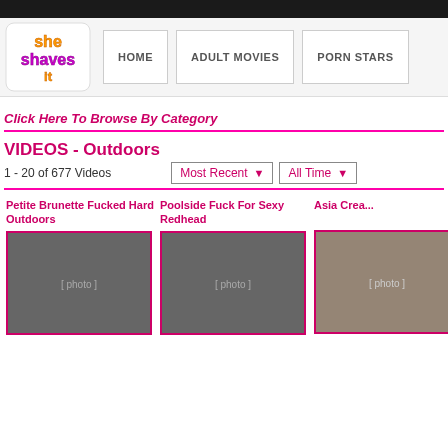She Shaves It - HOME | ADULT MOVIES | PORN STARS
Click Here To Browse By Category
VIDEOS - Outdoors
1 - 20 of 677 Videos
Most Recent   All Time
[Figure (photo): Thumbnail image: Petite Brunette Fucked Hard Outdoors]
Petite Brunette Fucked Hard Outdoors
[Figure (photo): Thumbnail image: Poolside Fuck For Sexy Redhead]
Poolside Fuck For Sexy Redhead
[Figure (photo): Thumbnail image: partially visible third video]
Asia Crea...